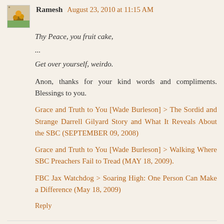Ramesh August 23, 2010 at 11:15 AM
Thy Peace, you fruit cake,
...
Get over yourself, weirdo.
Anon, thanks for your kind words and compliments. Blessings to you.
Grace and Truth to You [Wade Burleson] > The Sordid and Strange Darrell Gilyard Story and What It Reveals About the SBC (SEPTEMBER 09, 2008)
Grace and Truth to You [Wade Burleson] > Walking Where SBC Preachers Fail to Tread (MAY 18, 2009).
FBC Jax Watchdog > Soaring High: One Person Can Make a Difference (May 18, 2009)
Reply
Anonymous August 23, 2010 at 4:42 PM